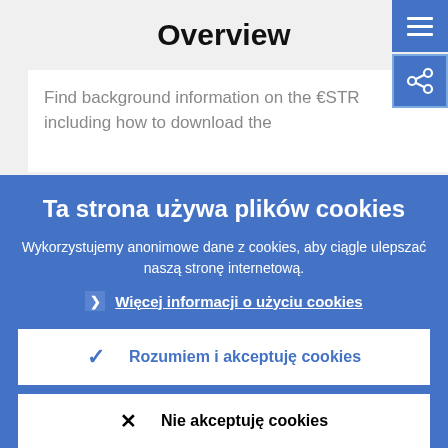Overview
Find background information on the €STR including how to download the
Ta strona używa plików cookies
Wykorzystujemy anonimowe dane z cookies, aby ciągle ulepszać naszą stronę internetową.
Więcej informacji o użyciu cookies
Rozumiem i akceptuję cookies
Nie akceptuję cookies